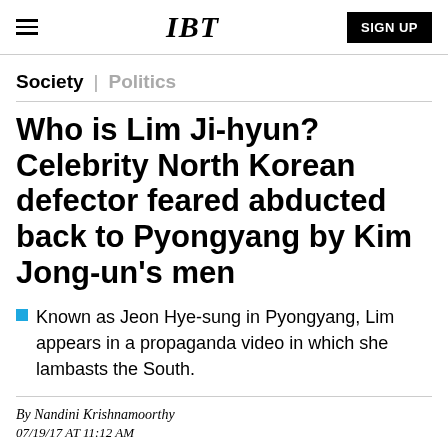IBT | SIGN UP
Society | Politics
Who is Lim Ji-hyun? Celebrity North Korean defector feared abducted back to Pyongyang by Kim Jong-un's men
Known as Jeon Hye-sung in Pyongyang, Lim appears in a propaganda video in which she lambasts the South.
By Nandini Krishnamoorthy
07/19/17 AT 11:12 AM